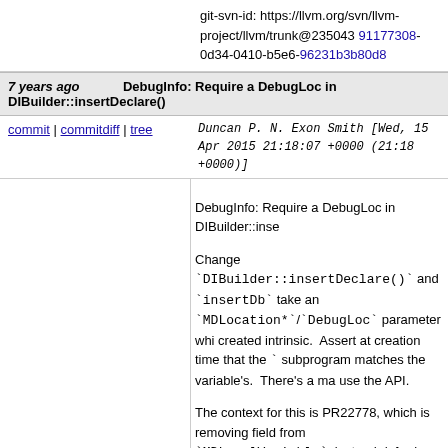git-svn-id: https://llvm.org/svn/llvm-project/llvm/trunk@235043 91177308-0d34-0410-b5e6-96231b3b80d8
7 years ago   DebugInfo: Require a DebugLoc in DIBuilder::insertDeclare()
commit | commitdiff | tree   Duncan P. N. Exon Smith [Wed, 15 Apr 2015 21:18:07 +0000 (21:18 +0000)]
DebugInfo: Require a DebugLoc in DIBuilder::inse

Change `DIBuilder::insertDeclare()` and `insertDb` take an `MDLocation*`/`DebugLoc` parameter whi created intrinsic.  Assert at creation time that the ` subprogram matches the variable's.  There's a ma use the API.

The context for this is PR22778, which is removing field from `MDLocalVariable`, instead deferring to attached to the debug info intrinsic.  The best way have a `!dbg` attachment is to require one at crea adding verifier checks next, but this API change is shake out frontend bugs.

Note: I added an `llvm_unreachable()` in `bindings `nullptr` for the `DebugLoc`.  The `llgo` folks will e pass a valid `DebugLoc` here.